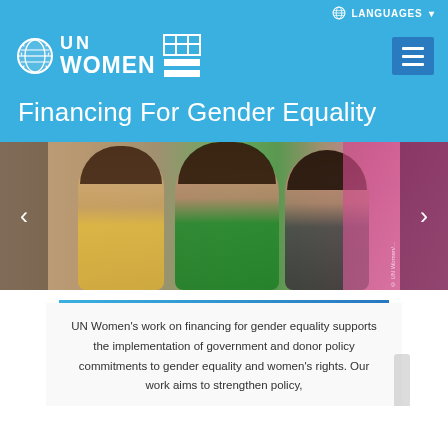LANGUAGES
[Figure (logo): UN Women logo with globe emblem, text UN WOMEN and decorative grid icon in white on blue background]
Financing For Gender Equality
[Figure (photo): Three young women smiling and raising fists, standing in front of a pink background with a gender symbol. Carousel with left and right navigation arrows.]
UN Women's work on financing for gender equality supports the implementation of government and donor policy commitments to gender equality and women's rights. Our work aims to strengthen policy,